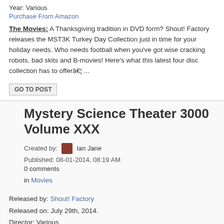Year: Various
Purchase From Amazon
The Movies: A Thanksgiving tradition in DVD form? Shout! Factory releases the MST3K Turkey Day Collection just in time for your holiday needs. Who needs football when you've got wise cracking robots, bad skits and B-movies! Here's what this latest four disc collection has to offerâ€¦ ...
GO TO POST
Mystery Science Theater 3000 Volume XXX
Created by: Ian Jane
Published: 08-01-2014, 08:19 AM
0 comments
in Movies
Released by: Shout! Factory
Released on: July 29th, 2014.
Director: Various
Cast: Various
Year: Various
Purchase From Amazon
The Movies:
Shout! Factory is back at it with yet another boxed set collection of classic MST3K...